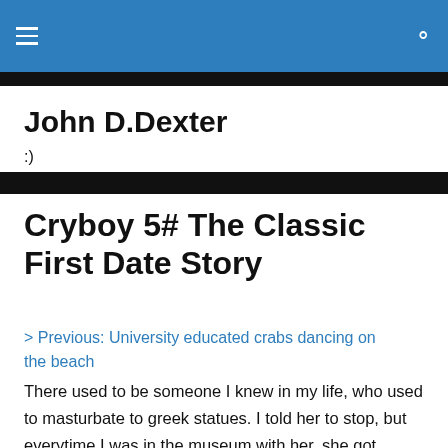John D.Dexter — site header with hamburger menu and search icon
John D.Dexter
:)
Cryboy 5# The Classic First Date Story
> Previous: University educated crabs dancing on the beach
There used to be someone I knew in my life, who used to masturbate to greek statues. I told her to stop, but everytime I was in the museum with her, she got incredibly horny. It was great. You could do whatever you wanted